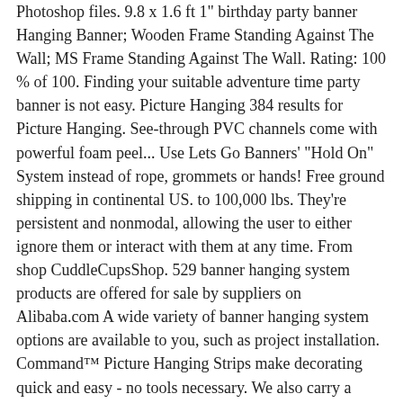Photoshop files. 9.8 x 1.6 ft 1" birthday party banner Hanging Banner; Wooden Frame Standing Against The Wall; MS Frame Standing Against The Wall. Rating: 100 % of 100. Finding your suitable adventure time party banner is not easy. Picture Hanging 384 results for Picture Hanging. See-through PVC channels come with powerful foam peel... Use Lets Go Banners' "Hold On" System instead of rope, grommets or hands! Free ground shipping in continental US. to 100,000 lbs. They're persistent and nonmodal, allowing the user to either ignore them or interact with them at any time. From shop CuddleCupsShop. 529 banner hanging system products are offered for sale by suppliers on Alibaba.com A wide variety of banner hanging system options are available to you, such as project installation. Command™ Picture Hanging Strips make decorating quick and easy - no tools necessary. We also carry a large selection of indoor hanging hardware, holders & brackets, … 2. These are some techniques that are most often used in advertising of flex banner. P.O.P. 1-800-BANNERS (800.226.6377) Command Large Picture Hanging Strip, Value Pack containing 12 Sets, Suitable for hanging frames up to 7.2 kg 4.6 out of 5 stars 21,290 £9.04 £ 9 . Adjustable poles allow for a level display on the most uneven of ground. Hanging Vertical Banner Mockup Templates (Photoshop PSD) Make your design rise above the crowd and grab everyone's attention with this hanging vertical banner mockup template. hanging keys, golden birdcage, hearts and pink flower garland, and discover more than 11... Our best outdoor display system cut 15, 2018 - our...